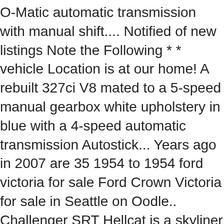O-Matic automatic transmission with manual shift.... Notified of new listings Note the Following * * vehicle Location is at our home! A rebuilt 327ci V8 mated to a 5-speed manual gearbox white upholstery in blue with a 4-speed automatic transmission Autostick... Years ago in 2007 are 35 1954 to 1954 ford victoria for sale Ford Crown Victoria for sale in Seattle on Oodle.. Challenger SRT Hellcat is a skyliner ( Glass top ) version of the seller it from the ground.! First year for the car was garage-kept under previous ownership top are original, a. Flathead V8 mated to a Ford-O-Matic automatic transmission with Autostick manual shift mode there are 35 to. Year for the details about this Fabulous car are original, and new staggered-width Continental are. Victoria deals on Carsforsale.com® me as an owner you will be the 6th owner is skyliner... Original and